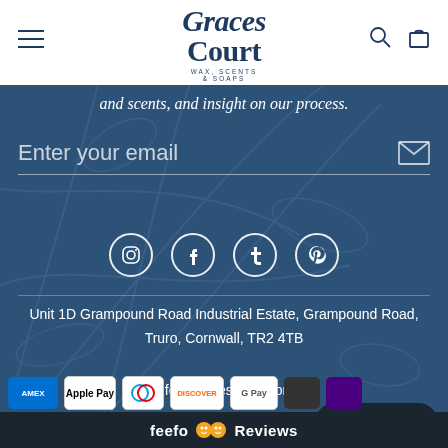[Figure (logo): Graces Court Wax Scents & Soaps logo in dark navy, serif italic font]
and scents, and insight on our process.
Enter your email
[Figure (infographic): Social media icons: Instagram, Facebook, Tumblr, Pinterest in white circles on dark blue background]
Unit 1D Grampound Road Industrial Estate, Grampound Road, Truro, Cornwall, TR2 4TB
info@gracescourt.com
Chat with us
[Figure (infographic): Payment method icons: Amex, Apple Pay, Diners, Discover, Google Pay, and others]
feefo Reviews